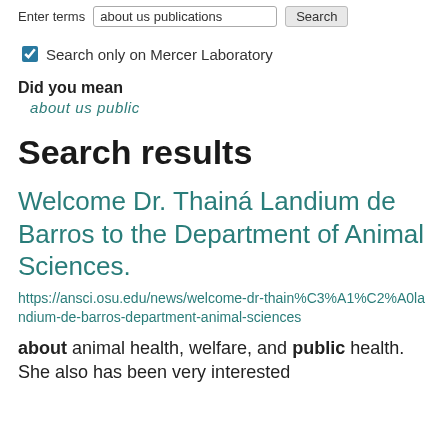Enter terms  about us publications  Search
Search only on Mercer Laboratory
Did you mean
about us public
Search results
Welcome Dr. Thainá Landium de Barros to the Department of Animal Sciences.
https://ansci.osu.edu/news/welcome-dr-thain%C3%A1%C2%A0landium-de-barros-department-animal-sciences
about animal health, welfare, and public health. She also has been very interested in…